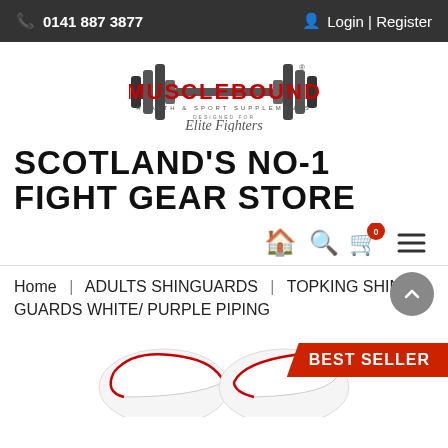0141 887 3877  |  Login | Register
[Figure (logo): Musclebound Health & Sport Supplements logo with barbell graphic and Elite Fighters script below]
SCOTLAND'S NO-1 FIGHT GEAR STORE
[Figure (infographic): Navigation icons: home, search, shopping cart (0), menu]
Home | ADULTS SHINGUARDS | TOPKING SHIN GUARDS WHITE/ PURPLE PIPING
[Figure (photo): White shin guards with red piping, partially visible at bottom of page. Best Seller badge on right.]